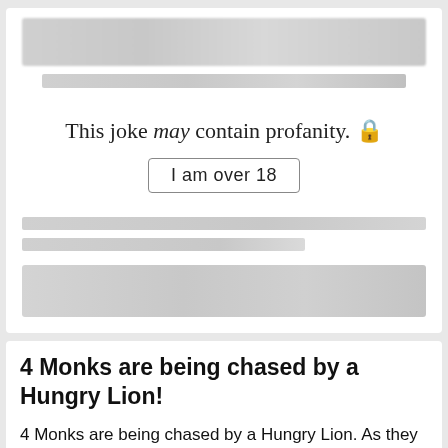This joke may contain profanity. 🔒
I am over 18
4 Monks are being chased by a Hungry Lion!
4 Monks are being chased by a Hungry Lion. As they run, they cry out to God yelling, "PLEASE LORD! CONVERT THIS LION TO BE A CHRISTIAN LION!"
[Figure (screenshot): Hulu Disney+ ESPN+ GET THE DISNEY BUNDLE advertisement banner]
They hungry lion approaches slowly, as they cry out louder: